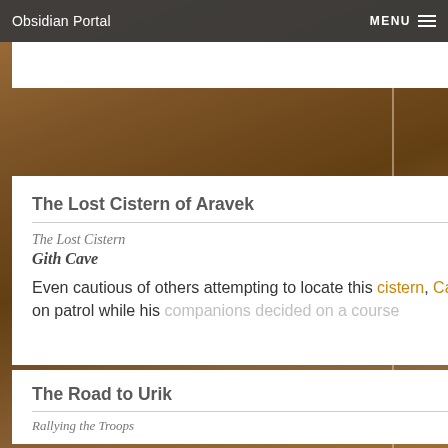Obsidian Portal   MENU
The Lost Cistern of Aravek
The Lost Cistern
Gith Cave
Even cautious of others attempting to locate this cistern, Castri set out on patrol while his companions decided on a course
View
20 JAN/2013
The Road to Urik
10 FEB/2013